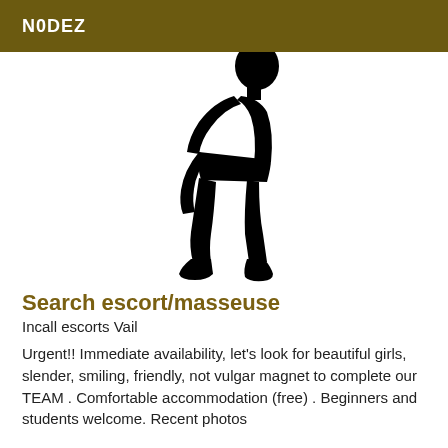N0DEZ
[Figure (illustration): Black silhouette of a female figure in a bent/posed posture against a white background]
Search escort/masseuse
Incall escorts Vail
Urgent!! Immediate availability, let's look for beautiful girls, slender, smiling, friendly, not vulgar magnet to complete our TEAM . Comfortable accommodation (free) . Beginners and students welcome. Recent photos